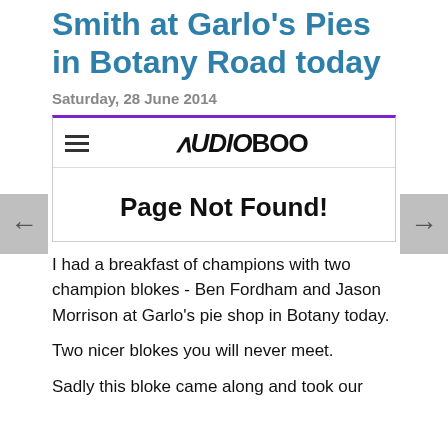Smith at Garlo's Pies in Botany Road today
Saturday, 28 June 2014
[Figure (screenshot): Audioboo embedded player showing 'Page Not Found!' error with hamburger menu icon and Audioboo logo]
I had a breakfast of champions with two champion blokes - Ben Fordham and Jason Morrison at Garlo's pie shop in Botany today.
Two nicer blokes you will never meet.
Sadly this bloke came along and took our